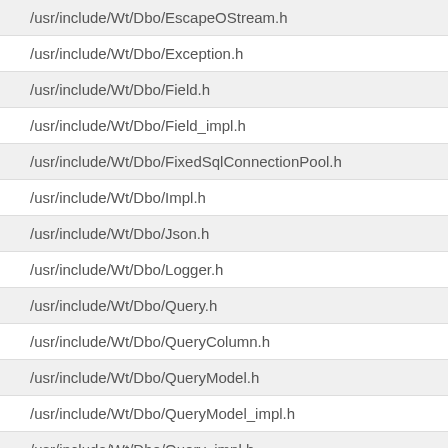/usr/include/Wt/Dbo/EscapeOStream.h
/usr/include/Wt/Dbo/Exception.h
/usr/include/Wt/Dbo/Field.h
/usr/include/Wt/Dbo/Field_impl.h
/usr/include/Wt/Dbo/FixedSqlConnectionPool.h
/usr/include/Wt/Dbo/Impl.h
/usr/include/Wt/Dbo/Json.h
/usr/include/Wt/Dbo/Logger.h
/usr/include/Wt/Dbo/Query.h
/usr/include/Wt/Dbo/QueryColumn.h
/usr/include/Wt/Dbo/QueryModel.h
/usr/include/Wt/Dbo/QueryModel_impl.h
/usr/include/Wt/Dbo/Query_impl.h